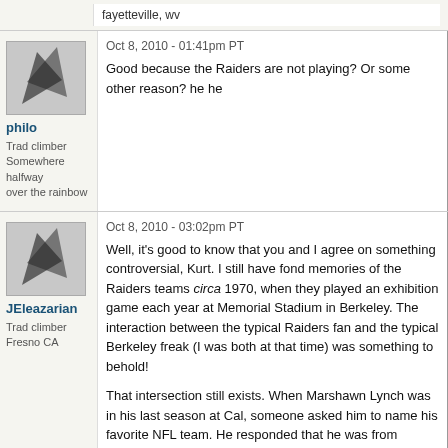fayetteville, wv
Oct 8, 2010 - 01:41pm PT
philo
Trad climber
Somewhere halfway over the rainbow
Good because the Raiders are not playing? Or some other reason? he he
Oct 8, 2010 - 03:02pm PT
JEleazarian
Trad climber
Fresno CA
Well, it's good to know that you and I agree on something controversial, Kurt. I still have fond memories of the Raiders teams circa 1970, when they played an exhibition game each year at Memorial Stadium in Berkeley. The interaction between the typical Raiders fan and the typical Berkeley freak (I was both at that time) was something to behold!

That intersection still exists. When Marshawn Lynch was in his last season at Cal, someone asked him to name his favorite NFL team. He responded that he was from Oakland, so he liked the Raiders. The reporter then asked if he'd ever sat in the Black Hole. Lynch replied, "Look, I said I like the Raiders. I didn't say I was insane."

John